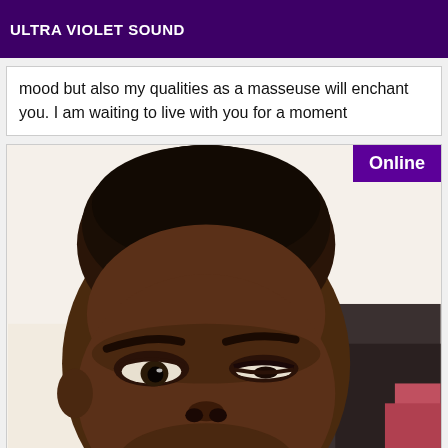ULTRA VIOLET SOUND
mood but also my qualities as a masseuse will enchant you. I am waiting to live with you for a moment
[Figure (photo): Close-up selfie photo of a person's face, upper portion visible, showing forehead and eyes, dark skin, short hair, looking at camera]